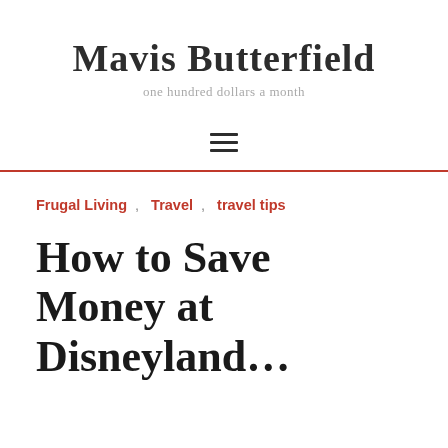Mavis Butterfield
one hundred dollars a month
Frugal Living , Travel , travel tips
How to Save Money at Disneyland…